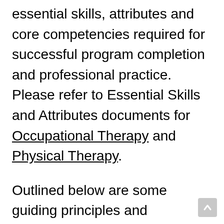essential skills, attributes and core competencies required for successful program completion and professional practice. Please refer to Essential Skills and Attributes documents for Occupational Therapy and Physical Therapy.
Outlined below are some guiding principles and processes for students from the School of Physical and Occupational Therapy who experience barriers in their academic courses or clinical placements. The principles and